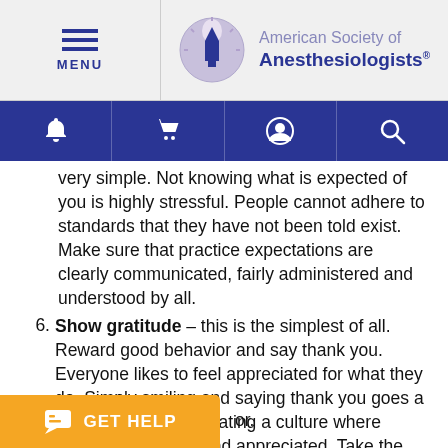MENU | American Society of Anesthesiologists
[Figure (screenshot): Navigation bar with bell, cart, user, and search icons on blue background]
very simple. Not knowing what is expected of you is highly stressful. People cannot adhere to standards that they have not been told exist. Make sure that practice expectations are clearly communicated, fairly administered and understood by all.
6. Show gratitude – this is the simplest of all. Reward good behavior and say thank you. Everyone likes to feel appreciated for what they do. Simply smiling and saying thank you goes a really long way in creating a culture where people feel valued and appreciated. Take the time to say thank you to your colleagues and they will likely take time to do the same for your behavior.